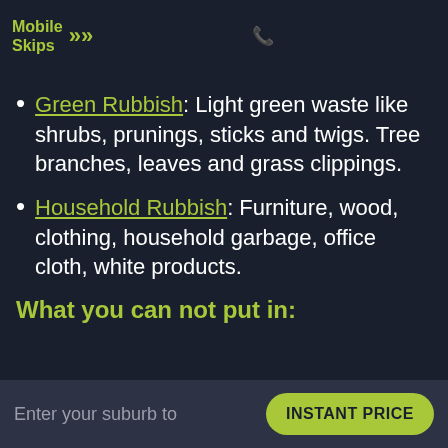Mobile Skips | 1300 090 822
Green Rubbish: Light green waste like shrubs, prunings, sticks and twigs. Tree branches, leaves and grass clippings.
Household Rubbish: Furniture, wood, clothing, household garbage, office cloth, white products.
What you can not put in:
Enter your suburb to | INSTANT PRICE